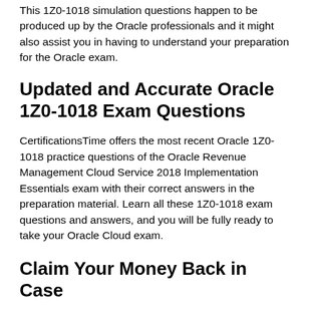This 1Z0-1018 simulation questions happen to be produced up by the Oracle professionals and it might also assist you in having to understand your preparation for the Oracle exam.
Updated and Accurate Oracle 1Z0-1018 Exam Questions
CertificationsTime offers the most recent Oracle 1Z0-1018 practice questions of the Oracle Revenue Management Cloud Service 2018 Implementation Essentials exam with their correct answers in the preparation material. Learn all these 1Z0-1018 exam questions and answers, and you will be fully ready to take your Oracle Cloud exam.
Claim Your Money Back in Case